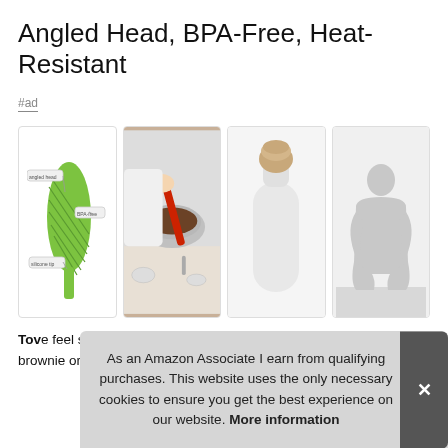Angled Head, BPA-Free, Heat-Resistant
#ad
[Figure (illustration): Four product images in a row: (1) green silicone spatula diagram with labels, (2) photo of person stirring in metal bowl with red spatula, (3) white ceramic bottle with wooden cap on light background, (4) gray silhouette of person in seated position for size reference]
Tove... feel... scra... and... brownie or cake batter in a pan, while the flexible edges are
As an Amazon Associate I earn from qualifying purchases. This website uses the only necessary cookies to ensure you get the best experience on our website. More information